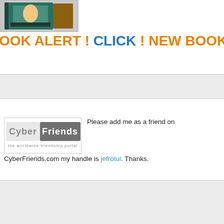[Figure (photo): Book cover image showing a person on a bench outdoors with plants/trees background, displayed as a 3D book mockup]
OOK ALERT ! CLICK ! NEW BOOK ALE
[Figure (logo): CyberFriends logo — the worldwide friendship portal]
Please add me as a friend on CyberFriends.com my handle is jefrotul. Thanks.